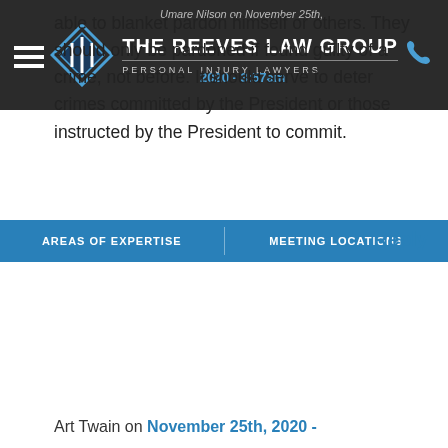The Reeves Law Group – Personal Injury Lawyers
AREAS OF EXPERTISE   MEETING LOCATIONS
able to blanket pardon himself or others. They should only be pardoned if found guilty of a crime, not before. It should serve to deter crimes committed by the President or those instructed by the President to commit.
Reply
Art Twain on November 25th, 2020 -